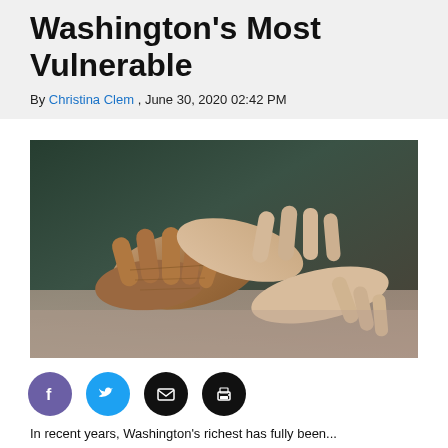Washington's Most Vulnerable
By Christina Clem , June 30, 2020 02:42 PM
[Figure (photo): Close-up photograph of an elderly person's hands being held gently by a younger person's hands, suggesting care and compassion.]
Social sharing buttons: Facebook, Twitter, Email, Print